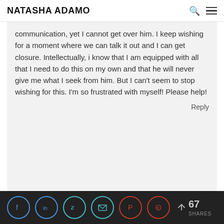NATASHA ADAMO
communication, yet I cannot get over him. I keep wishing for a moment where we can talk it out and I can get closure. Intellectually, i know that I am equipped with all that I need to do this on my own and that he will never give me what I seek from him. But I can't seem to stop wishing for this. I'm so frustrated with myself! Please help!
Reply
67 SHARES